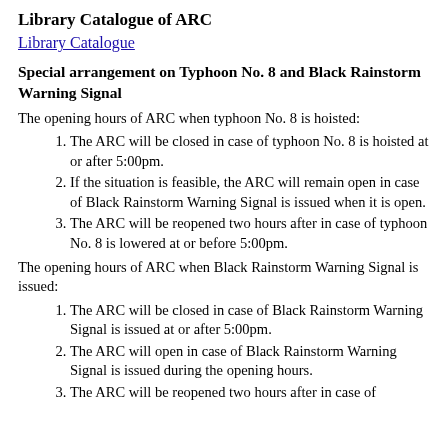Library Catalogue of ARC
Library Catalogue
Special arrangement on Typhoon No. 8 and Black Rainstorm Warning Signal
The opening hours of ARC when typhoon No. 8 is hoisted:
The ARC will be closed in case of typhoon No. 8 is hoisted at or after 5:00pm.
If the situation is feasible, the ARC will remain open in case of Black Rainstorm Warning Signal is issued when it is open.
The ARC will be reopened two hours after in case of typhoon No. 8 is lowered at or before 5:00pm.
The opening hours of ARC when Black Rainstorm Warning Signal is issued:
The ARC will be closed in case of Black Rainstorm Warning Signal is issued at or after 5:00pm.
The ARC will open in case of Black Rainstorm Warning Signal is issued during the opening hours.
The ARC will be reopened two hours after in case of